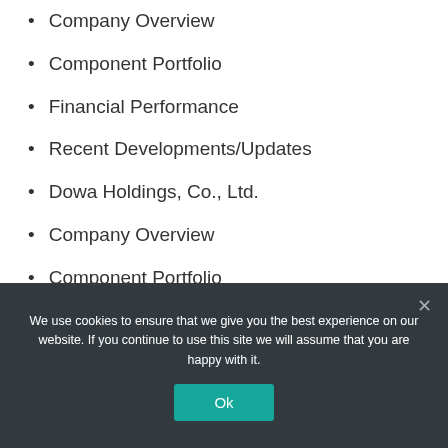Company Overview
Component Portfolio
Financial Performance
Recent Developments/Updates
Dowa Holdings, Co., Ltd.
Company Overview
Component Portfolio
We use cookies to ensure that we give you the best experience on our website. If you continue to use this site we will assume that you are happy with it.